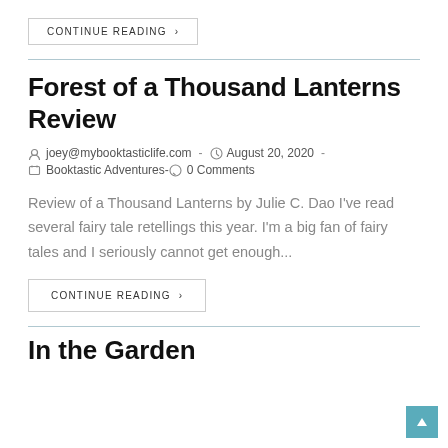CONTINUE READING ›
Forest of a Thousand Lanterns Review
joey@mybooktasticlife.com  -  August 20, 2020  -  Booktastic Adventures  -  0 Comments
Review of a Thousand Lanterns by Julie C. Dao I've read several fairy tale retellings this year. I'm a big fan of fairy tales and I seriously cannot get enough...
CONTINUE READING ›
In the Garden